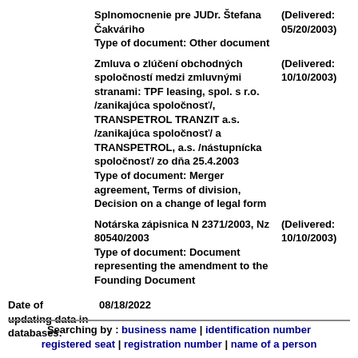Splnomocnenie pre JUDr. Štefana Čakváriho
Type of document: Other document
(Delivered: 05/20/2003)
Zmluva o zlúčení obchodných spoločností medzi zmluvnými stranami: TPF leasing, spol. s r.o. /zanikajúca spoločnosť/, TRANSPETROL TRANZIT a.s. /zanikajúca spoločnosť/ a TRANSPETROL, a.s. /nástupnícka spoločnosť/ zo dňa 25.4.2003
Type of document: Merger agreement, Terms of division, Decision on a change of legal form
(Delivered: 10/10/2003)
Notárska zápisnica N 2371/2003, Nz 80540/2003
Type of document: Document representing the amendment to the Founding Document
(Delivered: 10/10/2003)
Date of updating data in databases: 08/18/2022
Searching by : business name | identification number registered seat | registration number | name of a person